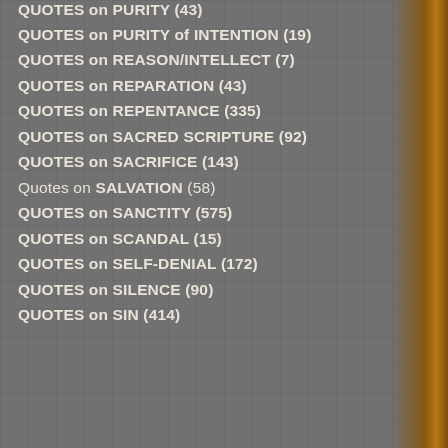QUOTES on PURITY (43)
QUOTES on PURITY of INTENTION (19)
QUOTES on REASON/INTELLECT (7)
QUOTES on REPARATION (43)
QUOTES on REPENTANCE (335)
QUOTES on SACRED SCRIPTURE (92)
QUOTES on SACRIFICE (143)
Quotes on SALVATION (58)
QUOTES on SANCTITY (575)
QUOTES on SCANDAL (15)
QUOTES on SELF-DENIAL (172)
QUOTES on SILENCE (90)
QUOTES on SIN (414)